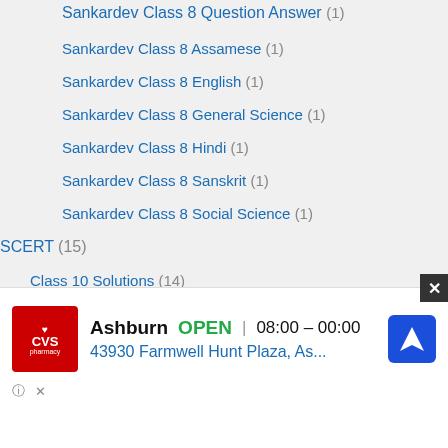Sankardev Class 8 Question Answer (1)
Sankardev Class 8 Assamese (1)
Sankardev Class 8 English (1)
Sankardev Class 8 General Science (1)
Sankardev Class 8 Hindi (1)
Sankardev Class 8 Sanskrit (1)
Sankardev Class 8 Social Science (1)
SCERT (15)
Class 10 Solutions (14)
SCERT Class 10 Social Science (14)
[Figure (screenshot): CVS Pharmacy advertisement banner showing Ashburn location, OPEN status, hours 08:00-00:00, address 43930 Farmwell Hunt Plaza, As..., with navigation icon and close button]